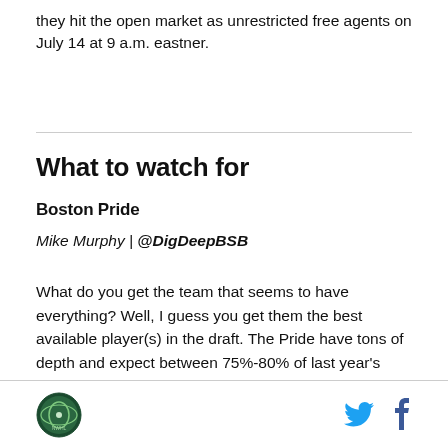they hit the open market as unrestricted free agents on July 14 at 9 a.m. eastner.
What to watch for
Boston Pride
Mike Murphy | @DigDeepBSB
What do you get the team that seems to have everything? Well, I guess you get them the best available player(s) in the draft. The Pride have tons of depth and expect between 75%-80% of last year's championship squad to return. They also only have two